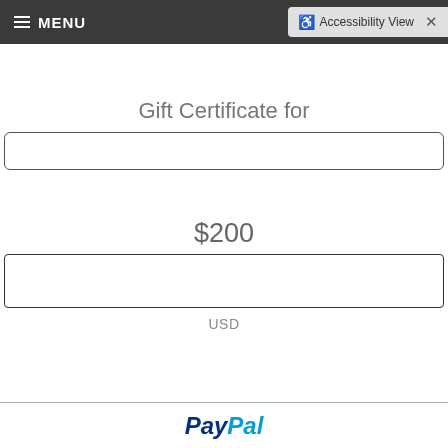≡ MENU   ♿ Accessibility View  ×
Gift Certificate for
$200
USD
[Figure (logo): PayPal logo (blue text, bold italic)]